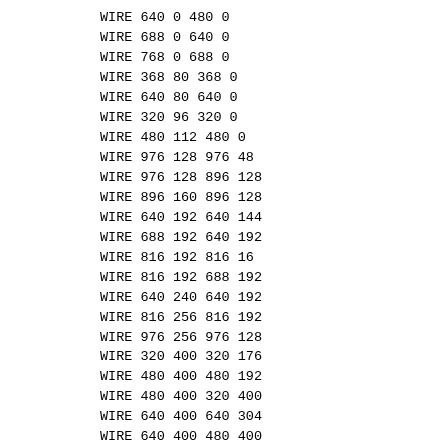WIRE 640 0 480 0
WIRE 688 0 640 0
WIRE 768 0 688 0
WIRE 368 80 368 0
WIRE 640 80 640 0
WIRE 320 96 320 0
WIRE 480 112 480 0
WIRE 976 128 976 48
WIRE 976 128 896 128
WIRE 896 160 896 128
WIRE 640 192 640 144
WIRE 688 192 640 192
WIRE 816 192 816 16
WIRE 816 192 688 192
WIRE 640 240 640 192
WIRE 816 256 816 192
WIRE 976 256 976 128
WIRE 320 400 320 176
WIRE 480 400 480 192
WIRE 480 400 320 400
WIRE 640 400 640 304
WIRE 640 400 480 400
WIRE 816 400 816 336
WIRE 976 400 976 336